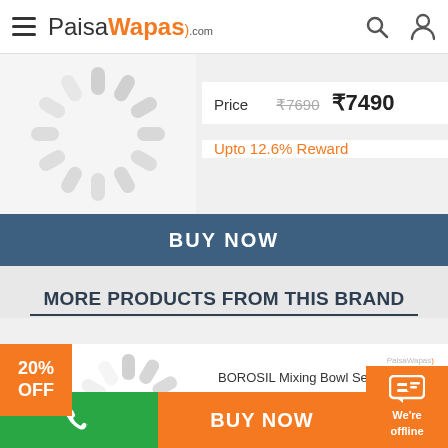PaisaWapas.com
Price  ₹7690  ₹7490
Upto 12.6% Reward
BUY NOW
MORE PRODUCTS FROM THIS BRAND
20% OFF
BOROSIL Mixing Bowl Sets-500 ml +1.3 L Glass Serving Bowl(White, Pack of 2)
Price  ₹865  ₹692
BUY NOW
We're offline